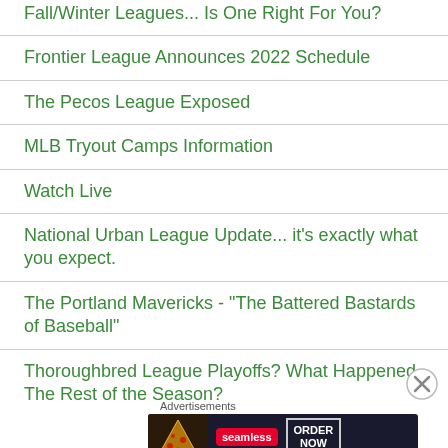Fall/Winter Leagues... Is One Right For You?
Frontier League Announces 2022 Schedule
The Pecos League Exposed
MLB Tryout Camps Information
Watch Live
National Urban League Update... it's exactly what you expect.
The Portland Mavericks - "The Battered Bastards of Baseball"
Thoroughbred League Playoffs? What Happened The Rest of the Season?
LINKS
[Figure (other): Seamless food delivery advertisement banner with pizza image, Seamless logo, and ORDER NOW button]